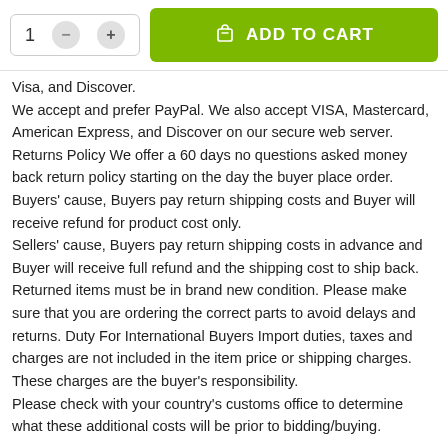[Figure (screenshot): Add to cart UI with quantity selector showing '1' and minus/plus buttons, and a green 'ADD TO CART' button with shopping bag icon]
Visa, and Discover. We accept and prefer PayPal. We also accept VISA, Mastercard, American Express, and Discover on our secure web server. Returns Policy We offer a 60 days no questions asked money back return policy starting on the day the buyer place order. Buyers' cause, Buyers pay return shipping costs and Buyer will receive refund for product cost only. Sellers' cause, Buyers pay return shipping costs in advance and Buyer will receive full refund and the shipping cost to ship back. Returned items must be in brand new condition. Please make sure that you are ordering the correct parts to avoid delays and returns. Duty For International Buyers Import duties, taxes and charges are not included in the item price or shipping charges. These charges are the buyer's responsibility. Please check with your country's customs office to determine what these additional costs will be prior to bidding/buying.